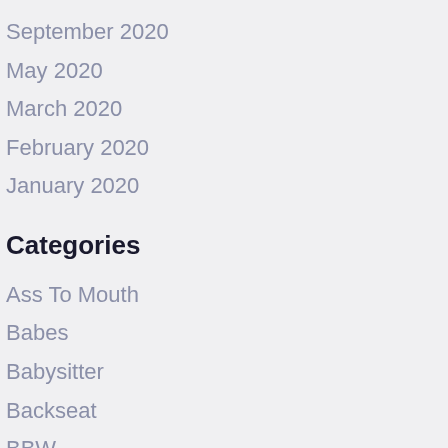September 2020
May 2020
March 2020
February 2020
January 2020
Categories
Ass To Mouth
Babes
Babysitter
Backseat
BBW
Big Ass